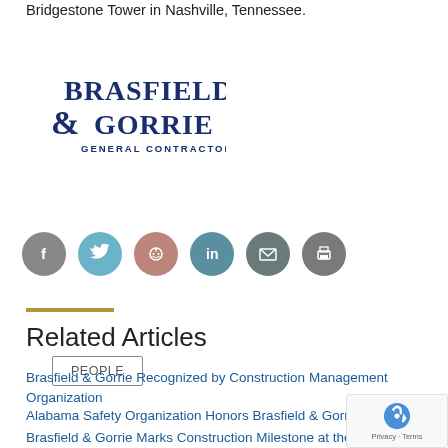Bridgestone Tower in Nashville, Tennessee.
[Figure (logo): Brasfield & Gorrie General Contractors logo — dark navy blue serif text]
PEOPLE
[Figure (infographic): Row of social media sharing icons: Facebook (grey), Twitter (light blue), Reddit (mauve/pink), LinkedIn (teal), Email (dark grey), Print (dark grey)]
Related Articles
Brasfield & Gorrie Recognized by Construction Management Organization
Alabama Safety Organization Honors Brasfield & Gorrie Leader
Brasfield & Gorrie Marks Construction Milestone at the University of Florida